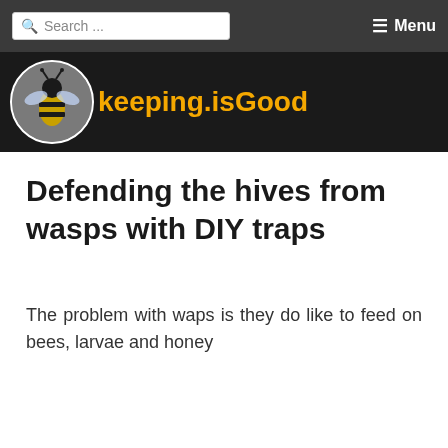Search ... ☰ Menu
[Figure (logo): Bee keeping website logo: circular bee photo with site name 'beekeeping.isGood' in yellow on dark background]
Defending the hives from wasps with DIY traps
The problem with waps is they do like to feed on bees, larvae and honey